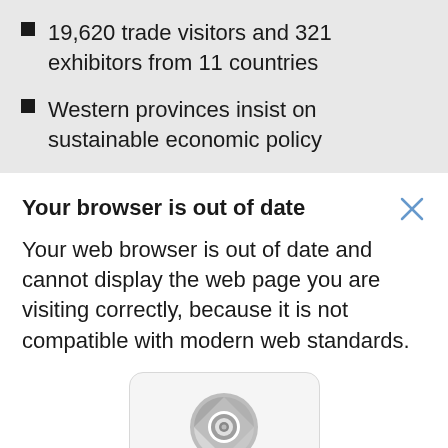19,620 trade visitors and 321 exhibitors from 11 countries
Western provinces insist on sustainable economic policy
Your browser is out of date
Your web browser is out of date and cannot display the web page you are visiting correctly, because it is not compatible with modern web standards.
[Figure (logo): Google Chrome browser icon (circular icon with grey tones) inside a rounded card, with 'Google' text below]